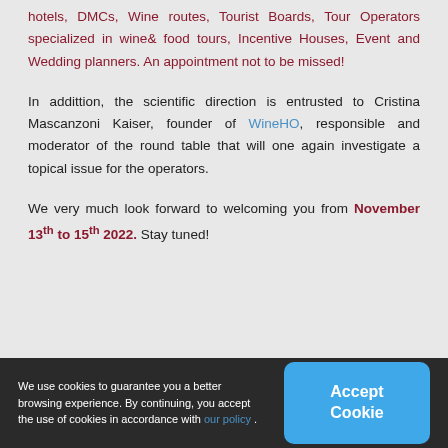hotels, DMCs, Wine routes, Tourist Boards, Tour Operators specialized in wine& food tours, Incentive Houses, Event and Wedding planners. An appointment not to be missed!
In addittion, the scientific direction is entrusted to Cristina Mascanzoni Kaiser, founder of WineHO, responsible and moderator of the round table that will one again investigate a topical issue for the operators.
We very much look forward to welcoming you from November 13th to 15th 2022. Stay tuned!
We use cookies to guarantee you a better browsing experience. By continuing, you accept the use of cookies in accordance with our policy .